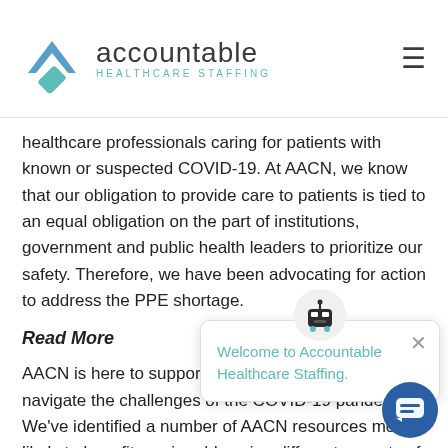accountable HEALTHCARE STAFFING
healthcare professionals caring for patients with known or suspected COVID-19. At AACN, we know that our obligation to provide care to patients is tied to an equal obligation on the part of institutions, government and public health leaders to prioritize our safety. Therefore, we have been advocating for action to address the PPE shortage.
Read More
AACN is here to support exceptional nurses as you navigate the challenges of the COVID-19 pandemic. We've identified a number of AACN resources most likely to benefit you in addressing different aspects of the disease. For more AACN resources and updates, please visit the AACN
[Figure (screenshot): Chat widget popup with robot icon showing 'Welcome to Accountable Healthcare Staffing.' message and a round blue chat button in the bottom right corner.]